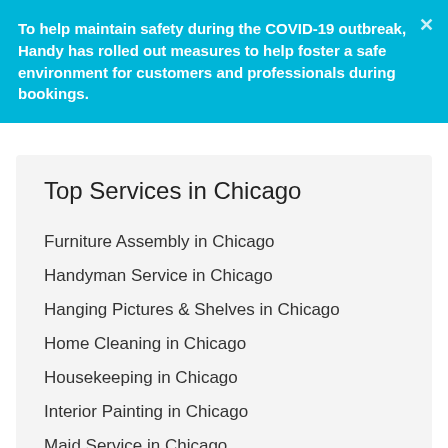To help maintain safety during the COVID-19 outbreak, Handy has rolled out measures to help foster a safe environment for customers and professionals during bookings.
Top Services in Chicago
Furniture Assembly in Chicago
Handyman Service in Chicago
Hanging Pictures & Shelves in Chicago
Home Cleaning in Chicago
Housekeeping in Chicago
Interior Painting in Chicago
Maid Service in Chicago
Moving Help in Chicago
Plumbing Service in Chicago